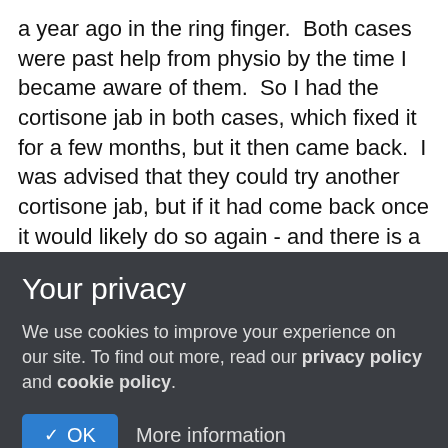a year ago in the ring finger.  Both cases were past help from physio by the time I became aware of them.  So I had the cortisone jab in both cases, which fixed it for a few months, but it then came back.  I was advised that they could try another cortisone jab, but if it had come back once it would likely do so again - and there is a limit to how many times they are prepared to keep jabbing you with steroids in the same place.  The first occurrence was operated on - a fairly simple outpatient procedure - and that fixed it for good.  I'm on the waiting list to get the ring finger operated on but they say it might be a while - apparently there's a bit of backlog of
Your privacy
We use cookies to improve your experience on our site. To find out more, read our privacy policy and cookie policy.
✓ OK   More information